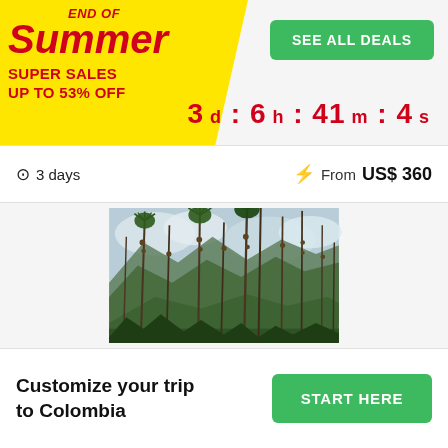END OF Summer SUPER SALES UP TO 53% OFF
SEE ALL DEALS
3 d : 6 h : 41 m : 4 s
3 days  From US$ 360
[Figure (photo): Tall wax palm trees in a green mountainous valley in Colombia, with cloudy skies and lush green hills in the background]
Customize your trip to Colombia
START HERE